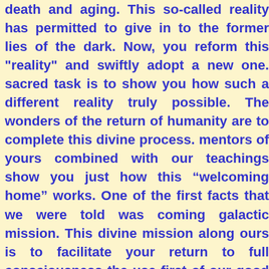death and aging. This so-called reality has permitted to give in to the former lies of the dark. Now, you reform this "reality" and swiftly adopt a new one. sacred task is to show you how such a different reality truly possible. The wonders of the return of humanity are to complete this divine process. mentors of yours combined with our teachings show you just how this “welcoming home” works. One of the first facts that we were told was coming galactic mission. This divine mission along ours is to facilitate your return to full consciousness the use first of our good works and graciousness many millennia, it is finally to include a sacred truth about who you truly are.
This coming time is therefore one of completion and transition to full consciousness. This means knowledge, skills and abilities to be given freely to all of you. The first grand step is this set of lessons about your True Self and a comprehensive history of your origins on other worlds. After that, it is about what happened to you while under the rule of the dark Atlanteans. All of us stem from this time of negative